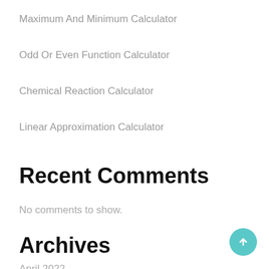Maximum And Minimum Calculator
Odd Or Even Function Calculator
Chemical Reaction Calculator
Linear Approximation Calculator
Recent Comments
No comments to show.
Archives
April 2022